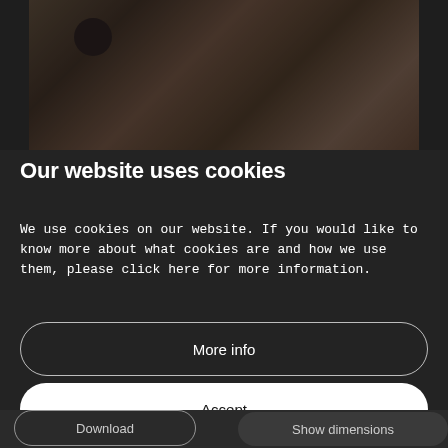[Figure (photo): Darkened kitchen interior photo showing countertops, cabinetry, and a round dark clock on the wall, used as background behind a cookie consent modal overlay]
Our website uses cookies
We use cookies on our website. If you would like to know more about what cookies are and how we use them, please click here for more information.
More info
Accept
Download
Show dimensions